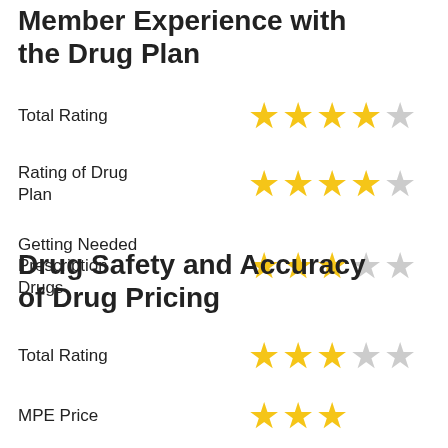Member Experience with the Drug Plan
Total Rating
Rating of Drug Plan
Getting Needed Prescription Drugs
Drug Safety and Accuracy of Drug Pricing
Total Rating
MPE Price